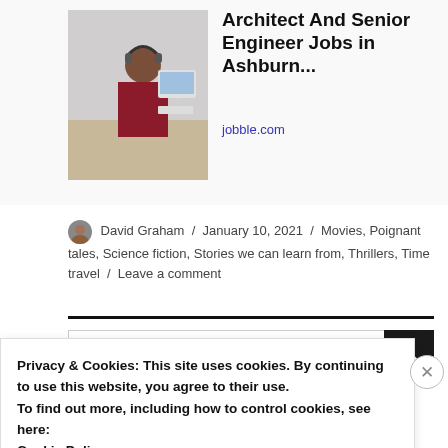[Figure (photo): Person working at a computer in an office environment]
Architect And Senior Engineer Jobs in Ashburn...
jobble.com
David Graham / January 10, 2021 / Movies, Poignant tales, Science fiction, Stories we can learn from, Thrillers, Time travel / Leave a comment
Search ...
Privacy & Cookies: This site uses cookies. By continuing to use this website, you agree to their use.
To find out more, including how to control cookies, see here:
Cookie Policy
Close and accept